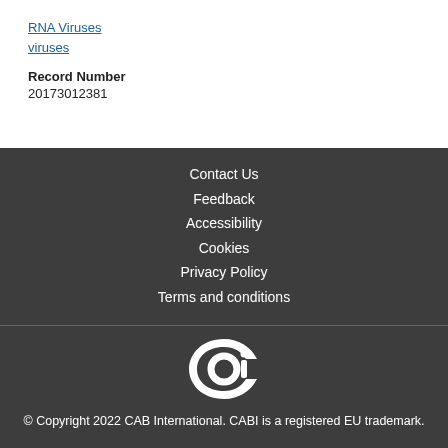RNA Viruses
viruses
Record Number
20173012381
Contact Us
Feedback
Accessibility
Cookies
Privacy Policy
Terms and conditions
[Figure (logo): CABI logo - stylized letter C with a circle inside, white on dark background]
© Copyright 2022 CAB International. CABI is a registered EU trademark.